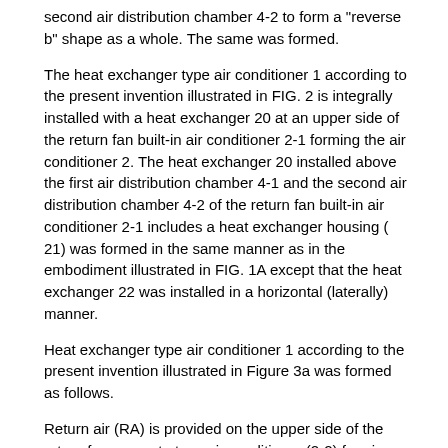second air distribution chamber 4-2 to form a "reverse b" shape as a whole. The same was formed.
The heat exchanger type air conditioner 1 according to the present invention illustrated in FIG. 2 is integrally installed with a heat exchanger 20 at an upper side of the return fan built-in air conditioner 2-1 forming the air conditioner 2. The heat exchanger 20 installed above the first air distribution chamber 4-1 and the second air distribution chamber 4-2 of the return fan built-in air conditioner 2-1 includes a heat exchanger housing ( 21) was formed in the same manner as in the embodiment illustrated in FIG. 1A except that the heat exchanger 22 was installed in a horizontal (laterally) manner.
Heat exchanger type air conditioner 1 according to the present invention illustrated in Figure 3a was formed as follows.
Return air (RA) is provided on the upper side of the return fan separate type air conditioner (2-2) forming the air conditioner (2) to return air (RA) of the return fan separate type air conditioner (2-2). The second air distribution